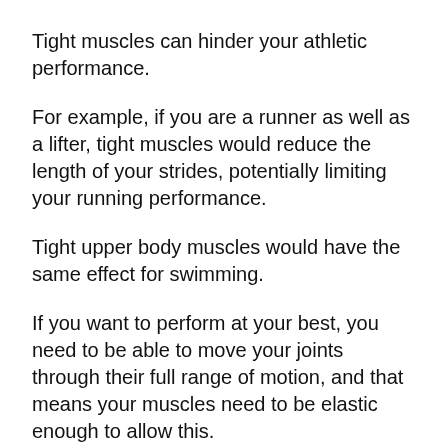Tight muscles can hinder your athletic performance.
For example, if you are a runner as well as a lifter, tight muscles would reduce the length of your strides, potentially limiting your running performance.
Tight upper body muscles would have the same effect for swimming.
If you want to perform at your best, you need to be able to move your joints through their full range of motion, and that means your muscles need to be elastic enough to allow this.